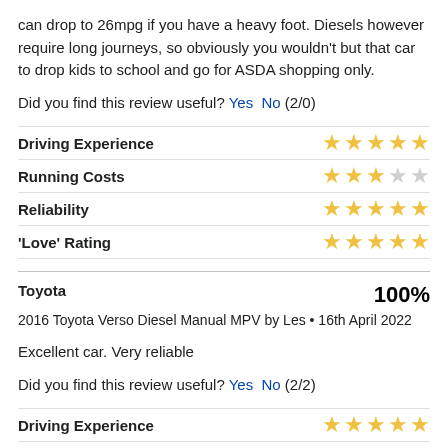can drop to 26mpg if you have a heavy foot. Diesels however require long journeys, so obviously you wouldn't but that car to drop kids to school and go for ASDA shopping only.
Did you find this review useful? Yes No (2/0)
| Category | Rating |
| --- | --- |
| Driving Experience | 5/5 |
| Running Costs | 3/5 |
| Reliability | 5/5 |
| 'Love' Rating | 5/5 |
Toyota
2016 Toyota Verso Diesel Manual MPV by Les • 16th April 2022
Excellent car. Very reliable
Did you find this review useful? Yes No (2/2)
| Category | Rating |
| --- | --- |
| Driving Experience | 5/5 |